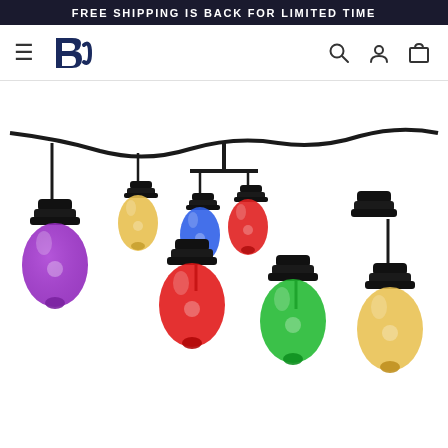FREE SHIPPING IS BACK FOR LIMITED TIME
[Figure (logo): BC brand logo with hamburger menu on left and search, account, cart icons on right in navigation bar]
[Figure (photo): Outdoor string lights with multiple colorful Edison-style bulbs hanging from a black wire strand. Bulbs are lit in purple, red, green, warm yellow, blue, and red colors against a white background.]